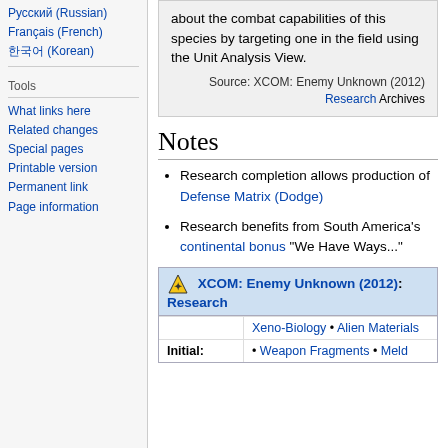Русский (Russian)
Français (French)
한국어 (Korean)
Tools
What links here
Related changes
Special pages
Printable version
Permanent link
Page information
about the combat capabilities of this species by targeting one in the field using the Unit Analysis View.
Source: XCOM: Enemy Unknown (2012) Research Archives
Notes
Research completion allows production of Defense Matrix (Dodge)
Research benefits from South America's continental bonus "We Have Ways..."
|  |  |
| --- | --- |
|  | Xeno-Biology • Alien Materials |
| Initial: | • Weapon Fragments • Meld |